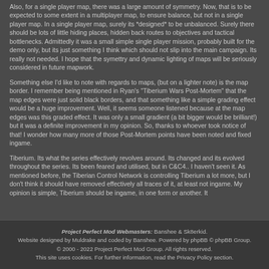Also, for a single player map, there was a large amount of symmetry. Now, that is to be expected to some extent in a multiplayer map, to ensure balance, but not in a single player map. In a single player map, surely its *designed* to be unbalanced. Surely there should be lots of little hiding places, hidden back routes to objectives and tactical bottlenecks. Admittedly it was a small simple single player mission, probably built for the demo only, but its just something I think which should not slip into the main campaign. Its really not needed. I hope that the symettry and dynamic lighting of maps will be seriously considered in future mapwork.
Something else I'd like to note with regards to maps, (but on a lighter note) is the map border. I remember being mentioned in Ryan's "Tiberium Wars Post-Mortem" that the map edges were just solid black borders, and that something like a simple grading effect would be a huge improvement. Well, it seems someone listened because at the map edges was this graded effect. It was only a small gradient (a bit bigger would be brilliant!) but it was a definite improvement in my opinion. So, thanks to whoever took notice of that! I wonder how many more of those Post-Mortem points have been noted and fixed ingame.
Tiberium. Its what the series effectively revolves around. Its changed and its evolved throughout the series. Its been feared and utilised, but in C&C4.. I haven't seen it. As mentioned before, the Tiberian Control Network is controlling Tiberium a lot more, but I don't think it should have removed effectively all traces of it, at least not ingame. My opinion is simple, Tiberium should be ingame, in one form or another. It
Project Perfect Mod Webmasters: Banshee & Sk8erkid. Website designed by Muldrake and coded by Banshee. Powered by phpBB © phpBB Group. © 2000 - 2022 Project Perfect Mod Group. All rights reserved. This site uses cookies. For further information, read the Privacy Policy section.